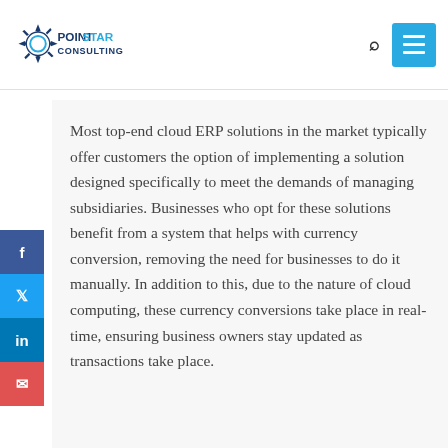[Figure (logo): PointStar Consulting logo with star icon and company name]
Most top-end cloud ERP solutions in the market typically offer customers the option of implementing a solution designed specifically to meet the demands of managing subsidiaries. Businesses who opt for these solutions benefit from a system that helps with currency conversion, removing the need for businesses to do it manually. In addition to this, due to the nature of cloud computing, these currency conversions take place in real-time, ensuring business owners stay updated as transactions take place.